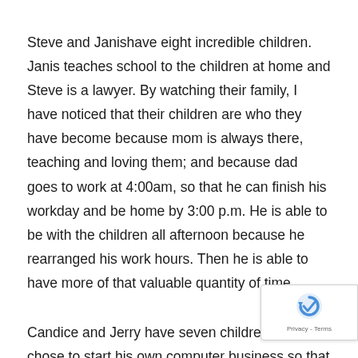Steve and Janishave eight incredible children. Janis teaches school to the children at home and Steve is a lawyer. By watching their family, I have noticed that their children are who they have become because mom is always there, teaching and loving them; and because dad goes to work at 4:00am, so that he can finish his workday and be home by 3:00 p.m. He is able to be with the children all afternoon because he rearranged his work hours. Then he is able to have more of that valuable quantity of time.
Candice and Jerry have seven children. Jerry chose to start his own computer business so that he could stay home with his family. He stops working each day at 5:00 p.m. whether he is done with his work or not so that he can help make dinner as a family and spend time with his wife and the children he has tucked his family in bed, he begins his night work until